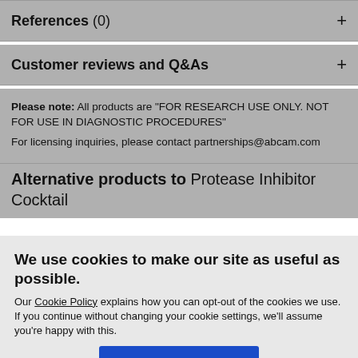References (0)
Customer reviews and Q&As
Please note: All products are "FOR RESEARCH USE ONLY. NOT FOR USE IN DIAGNOSTIC PROCEDURES"
For licensing inquiries, please contact partnerships@abcam.com
Alternative products to Protease Inhibitor Cocktail
We use cookies to make our site as useful as possible.
Our Cookie Policy explains how you can opt-out of the cookies we use. If you continue without changing your cookie settings, we'll assume you're happy with this.
Accept All Cookies